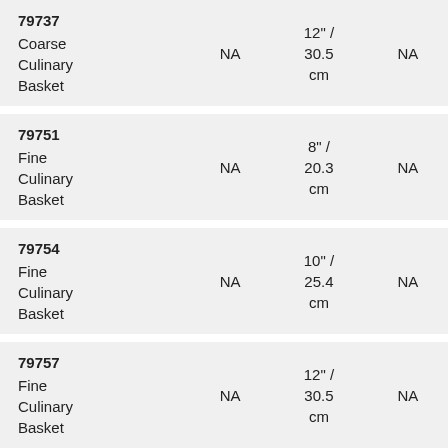| Item | Col2 | Size | Col4 |
| --- | --- | --- | --- |
| 79737 Coarse Culinary Basket | NA | 12" / 30.5 cm | NA |
| 79751 Fine Culinary Basket | NA | 8" / 20.3 cm | NA |
| 79754 Fine Culinary Basket | NA | 10" / 25.4 cm | NA |
| 79757 Fine Culinary Basket | NA | 12" / 30.5 cm | NA |
| 79741 | NA | 8" / | NA |